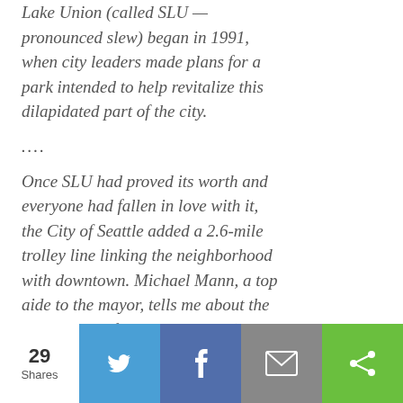Lake Union (called SLU — pronounced slew) began in 1991, when city leaders made plans for a park intended to help revitalize this dilapidated part of the city.
....
Once SLU had proved its worth and everyone had fallen in love with it, the City of Seattle added a 2.6-mile trolley line linking the neighborhood with downtown. Michael Mann, a top aide to the mayor, tells me about the importance of the SLU trolley (which locals lovingly call SLUT). While I
29 Shares | Twitter | Facebook | Email | Share